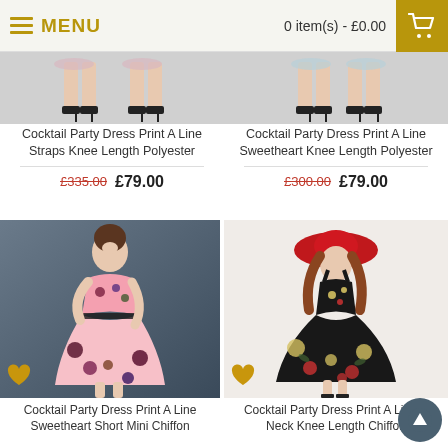MENU | 0 item(s) - £0.00
[Figure (photo): Partial view of a dress product showing legs and shoes - Cocktail Party Dress Print A Line Straps Knee Length Polyester]
Cocktail Party Dress Print A Line Straps Knee Length Polyester
£335.00  £79.00
[Figure (photo): Partial view of a dress product showing legs and shoes - Cocktail Party Dress Print A Line Sweetheart Knee Length Polyester]
Cocktail Party Dress Print A Line Sweetheart Knee Length Polyester
£300.00  £79.00
[Figure (photo): Woman wearing a pink floral cocktail dress - Cocktail Party Dress Print A Line Sweetheart Short Mini Chiffon]
Cocktail Party Dress Print A Line Sweetheart Short Mini Chiffon
[Figure (photo): Woman wearing a black floral dress with red hat - Cocktail Party Dress Print A Line V Neck Knee Length Chiffon]
Cocktail Party Dress Print A Line V Neck Knee Length Chiffon